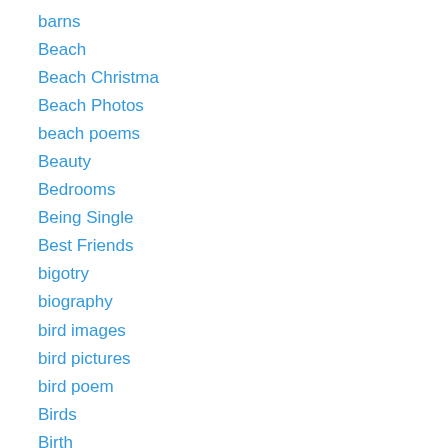barns
Beach
Beach Christma
Beach Photos
beach poems
Beauty
Bedrooms
Being Single
Best Friends
bigotry
biography
bird images
bird pictures
bird poem
Birds
Birth
Birthdays
Bits of Wisdom
Blog Hop
Blog Statistics